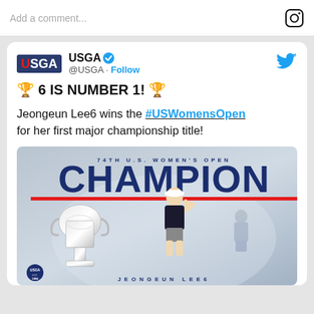Add a comment...
[Figure (screenshot): USGA tweet announcing Jeongeun Lee6 winning the 74th U.S. Women's Open Championship, with a promotional champion poster image showing Lee6 with trophy]
USGA @USGA · Follow
🏆 6 IS NUMBER 1! 🏆
Jeongeun Lee6 wins the #USWomensOpen for her first major championship title!
[Figure (photo): 74TH U.S. WOMEN'S OPEN CHAMPION promotional poster featuring Jeongeun Lee6 with the trophy, text reads CHAMPION and JEONGEUN LEE6 at the bottom]